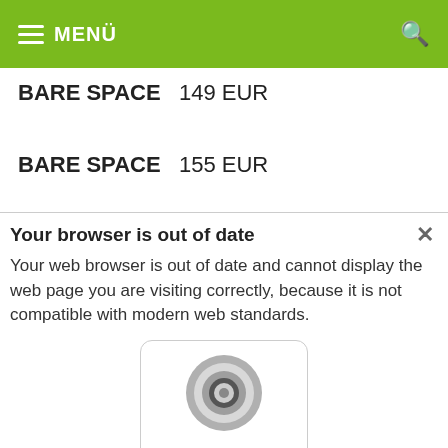MENÜ
BARE SPACE   149 EUR
BARE SPACE   155 EUR
Your browser is out of date
Your web browser is out of date and cannot display the web page you are visiting correctly, because it is not compatible with modern web standards.
[Figure (logo): Google Chrome browser logo — circular icon with grey outer ring, dark inner circle, light grey inner circle, with 'Google Chrome' label below]